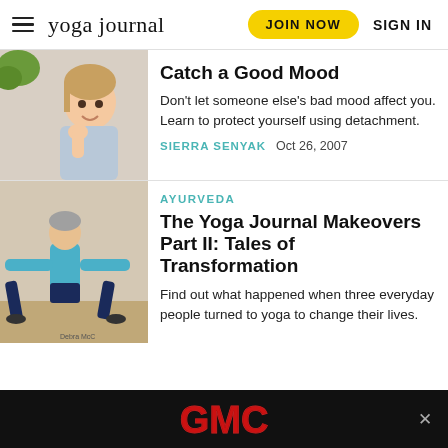yoga journal  JOIN NOW  SIGN IN
[Figure (photo): Smiling woman with hand on chin, casual indoor setting]
Catch a Good Mood
Don't let someone else's bad mood affect you. Learn to protect yourself using detachment.
SIERRA SENYAK   Oct 26, 2007
AYURVEDA
[Figure (photo): Woman in blue tank top doing yoga warrior pose, Debra McC photo credit]
The Yoga Journal Makeovers Part II: Tales of Transformation
Find out what happened when three everyday people turned to yoga to change their lives.
[Figure (other): GMC advertisement banner with red GMC logo on black background]